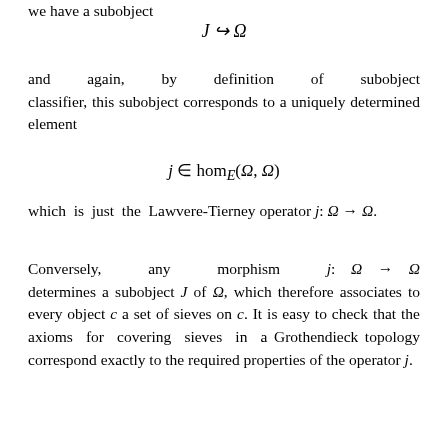we have a subobject
and again, by definition of subobject classifier, this subobject corresponds to a uniquely determined element
which is just the Lawvere-Tierney operator j: Ω → Ω.
Conversely, any morphism j: Ω → Ω determines a subobject J of Ω, which therefore associates to every object c a set of sieves on c. It is easy to check that the axioms for covering sieves in a Grothendieck topology correspond exactly to the required properties of the operator j.